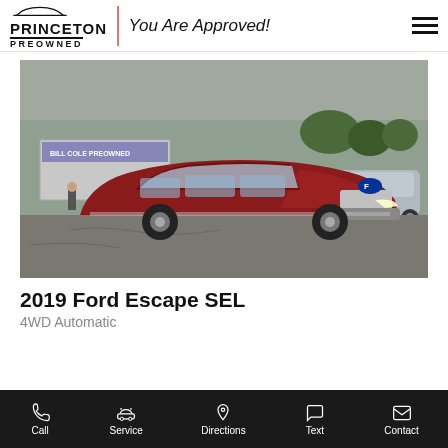Princeton Preowned — You Are Approved!
[Figure (photo): A red 2019 Ford Escape SEL SUV parked in a car dealership lot (Bill Cole Preowned) on a cloudy day]
2019 Ford Escape SEL
4WD Automatic
Call | Service | Directions | Text | Contact